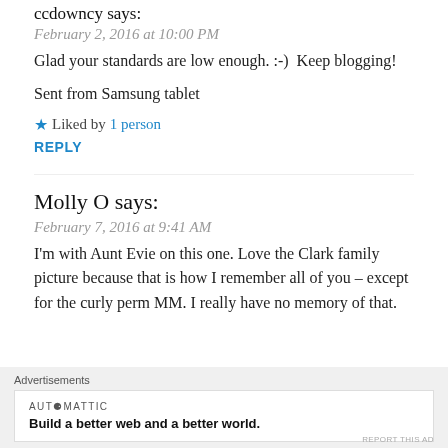ccdowncy says:
February 2, 2016 at 10:00 PM
Glad your standards are low enough. :-)  Keep blogging!
Sent from Samsung tablet
★ Liked by 1 person
REPLY
Molly O says:
February 7, 2016 at 9:41 AM
I'm with Aunt Evie on this one. Love the Clark family picture because that is how I remember all of you – except for the curly perm MM. I really have no memory of that.
Advertisements
AUTOMATTIC
Build a better web and a better world.